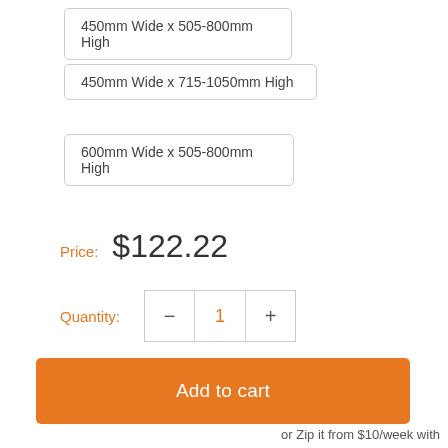450mm Wide x 505-800mm High
450mm Wide x 715-1050mm High
600mm Wide x 505-800mm High
Price: $122.22
Quantity: - 1 +
Add to cart
or Zip it from $10/week with